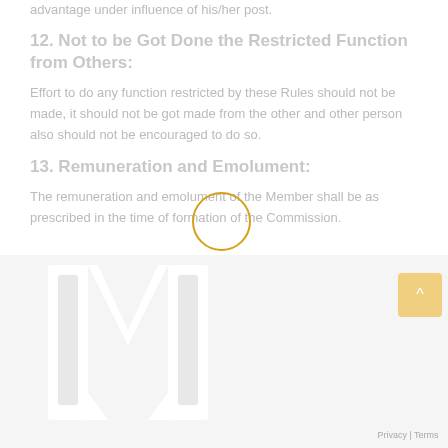advantage under influence of his/her post.
12. Not to be Got Done the Restricted Function from Others:
Effort to do any function restricted by these Rules should not be made, it should not be got made from the other and other person also should not be encouraged to do so.
13. Remuneration and Emolument:
The remuneration and emolument of the Member shall be as prescribed in the time of formation of the Commission.
[Figure (logo): Large decorative logo/watermark image at the bottom of the page, showing a white emblem shape on a light grey background. A golden/yellow circular highlight overlay appears over the text above. A scroll-to-top button and privacy/terms footer links are visible in the bottom right.]